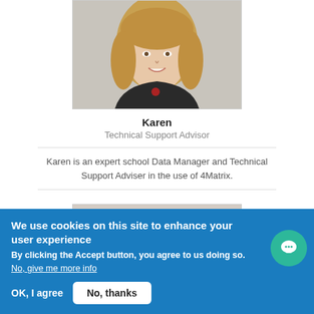[Figure (photo): Headshot photo of Karen, a woman with long blonde hair, smiling, wearing a dark top against a light grey background.]
Karen
Technical Support Advisor
Karen is an expert school Data Manager and Technical Support Adviser in the use of 4Matrix.
[Figure (photo): Partial headshot photo of another person, partially cut off at bottom of visible area.]
We use cookies on this site to enhance your user experience
By clicking the Accept button, you agree to us doing so.
No, give me more info
OK, I agree
No, thanks